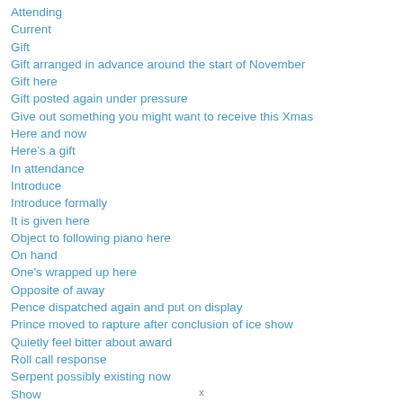Attending
Current
Gift
Gift arranged in advance around the start of November
Gift here
Gift posted again under pressure
Give out something you might want to receive this Xmas
Here and now
Here’s a gift
In attendance
Introduce
Introduce formally
It is given here
Object to following piano here
On hand
One's wrapped up here
Opposite of away
Pence dispatched again and put on display
Prince moved to rapture after conclusion of ice show
Quietly feel bitter about award
Roll call response
Serpent possibly existing now
Show
x